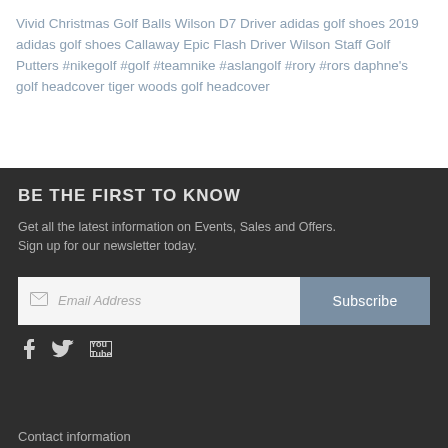Vivid Christmas Golf Balls Wilson D7 Driver adidas golf shoes 2019 adidas golf shoes Callaway Epic Flash Driver Wilson Staff Golf Putters #nikegolf #golf #teamnike #aslangolf #rory #rors daphne's golf headcover tiger woods golf headcover
BE THE FIRST TO KNOW
Get all the latest information on Events, Sales and Offers. Sign up for our newsletter today.
Contact information